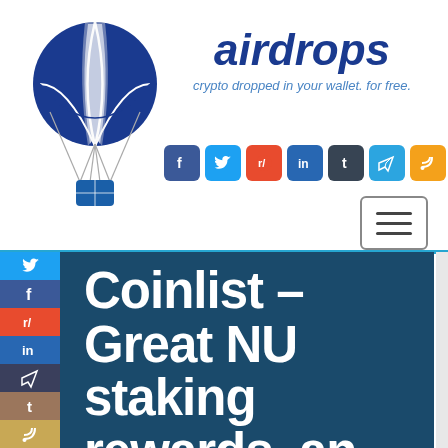[Figure (logo): Airdrops website logo: blue parachute with white panels carrying a blue package, with site name 'airdrops' in bold dark blue italic and tagline 'crypto dropped in your wallet. for free.' in light blue italic]
[Figure (infographic): Row of 7 social media icon buttons: Facebook (dark blue), Twitter (light blue), Reddit (red), LinkedIn (dark blue), Tumblr (dark gray), Telegram (light blue), RSS (orange)]
[Figure (infographic): Hamburger menu button (three horizontal lines) in a rounded rectangle border]
[Figure (infographic): Left sidebar with 7 vertical social media icon blocks: Twitter (blue), Facebook (dark blue), Reddit (red), LinkedIn (blue), Telegram (dark navy), Tumblr (brown), RSS (gold)]
Coinlist – Great NU staking rewards, an interesting platform to watch